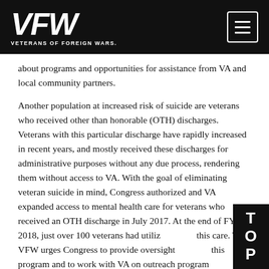VFW — VETERANS OF FOREIGN WARS.
about programs and opportunities for assistance from VA and local community partners.
Another population at increased risk of suicide are veterans who received other than honorable (OTH) discharges. Veterans with this particular discharge have rapidly increased in recent years, and mostly received these discharges for administrative purposes without any due process, rendering them without access to VA. With the goal of eliminating veteran suicide in mind, Congress authorized and VA expanded access to mental health care for veterans who received an OTH discharge in July 2017. At the end of FY 2018, just over 100 veterans had utilized this care. The VFW urges Congress to provide oversight of this program and to work with VA on outreach programs educating veterans of its availability. The VFW also urges VA to open eligibility for all health care to veterans with